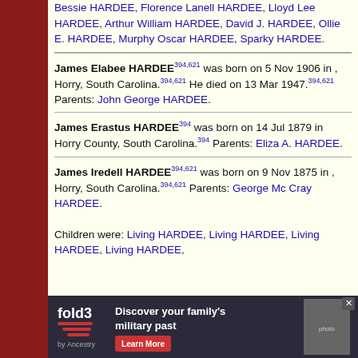Bessie HARDEE, Florence Lanell HARDEE, Lloyd Lee HARDEE, Arthur William HARDEE, David J. HARDEE, Ollie E. HARDEE, Murphy Oscar HARDEE, Sparky HARDEE.
James Elabee HARDEE394,621 was born on 5 Nov 1906 in , Horry, South Carolina.394,621 He died on 13 Mar 1947.394,621 Parents: John George HARDEE.
James Erastus HARDEE394 was born on 14 Jul 1879 in Horry County, South Carolina.394 Parents: Eliza A. HARDEE.
James Iredell HARDEE394,621 was born on 9 Nov 1875 in , Horry, South Carolina.394,621 Parents: George Mc Cray HARDEE.
Children were: Living HARDEE, Living HARDEE, Living HARDEE, Living HARDEE,
[Figure (advertisement): Fold3 by Ancestry advertisement: Discover your family's military past. Learn More button. Photo of soldiers.]